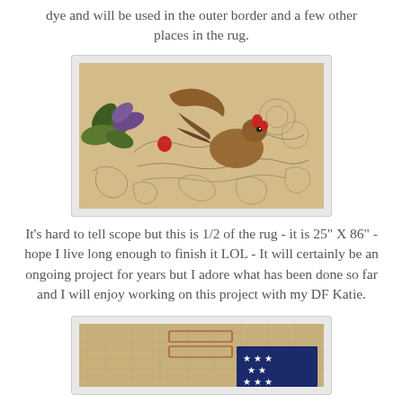dye and will be used in the outer border and a few other places in the rug.
[Figure (photo): A partially hooked rug pattern on burlap/linen backing showing a rooster design with oak leaves in green and purple, and a rooster with red wattle, partially colored with brown and red, with scrolling floral and vine outlines drawn in pencil on the unfinished portions.]
It's hard to tell scope but this is 1/2 of the rug - it is 25" X 86" - hope I live long enough to finish it LOL - It will certainly be an ongoing project for years but I adore what has been done so far and I will enjoy working on this project with my DF Katie.
[Figure (photo): A second photo showing the beginning of an American flag section of the rug, with a dark blue corner showing white stars, and the grid/canvas backing visible.]